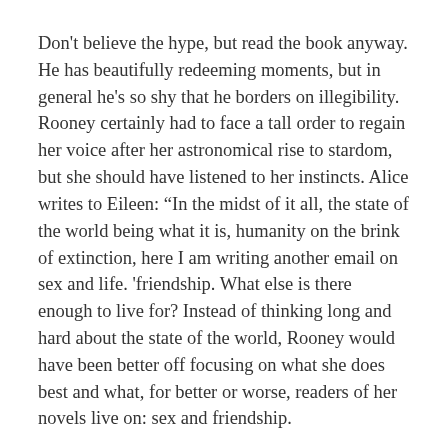Don't believe the hype, but read the book anyway. He has beautifully redeeming moments, but in general he's so shy that he borders on illegibility. Rooney certainly had to face a tall order to regain her voice after her astronomical rise to stardom, but she should have listened to her instincts. Alice writes to Eileen: “In the midst of it all, the state of the world being what it is, humanity on the brink of extinction, here I am writing another email on sex and life. 'friendship. What else is there enough to live for? Instead of thinking long and hard about the state of the world, Rooney would have been better off focusing on what she does best and what, for better or worse, readers of her novels live on: sex and friendship.
University is the independent journal of the University of Cambridge, established in its present form in 1947. In order to maintain our editorial independence, our print journal and news website do not receive any funding from the